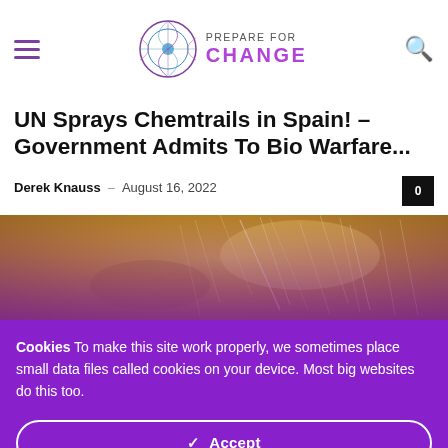Prepare For Change
UN Sprays Chemtrails in Spain! – Government Admits To Bio Warfare...
Derek Knauss – August 16, 2022
[Figure (photo): Golden/yellow bokeh background with needle-like streaks, article featured image]
Cookies To make this site work properly, we sometimes place small data files called cookies on your device. Most big websites do this too.
✓ Accept
Change Settings ⚙